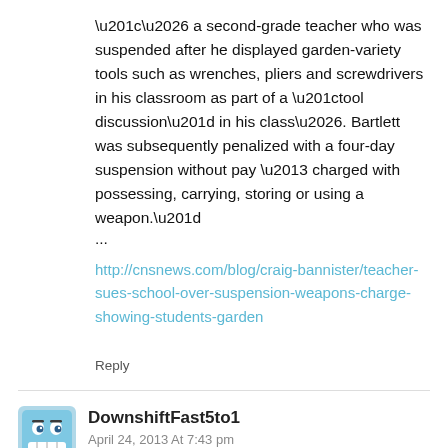“… a second-grade teacher who was suspended after he displayed garden-variety tools such as wrenches, pliers and screwdrivers in his classroom as part of a “tool discussion” in his class…. Bartlett was subsequently penalized with a four-day suspension without pay – charged with possessing, carrying, storing or using a weapon.”
...
http://cnsnews.com/blog/craig-bannister/teacher-sues-school-over-suspension-weapons-charge-showing-students-garden
Reply
DownshiftFast5to1
April 24, 2013 At 7:43 pm